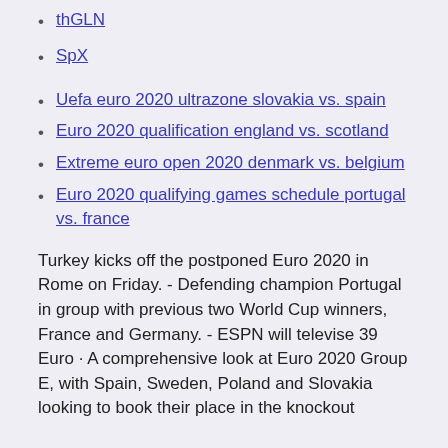thGLN
SpX
Uefa euro 2020 ultrazone slovakia vs. spain
Euro 2020 qualification england vs. scotland
Extreme euro open 2020 denmark vs. belgium
Euro 2020 qualifying games schedule portugal vs. france
Turkey kicks off the postponed Euro 2020 in Rome on Friday. - Defending champion Portugal in group with previous two World Cup winners, France and Germany. - ESPN will televise 39 Euro · A comprehensive look at Euro 2020 Group E, with Spain, Sweden, Poland and Slovakia looking to book their place in the knockout